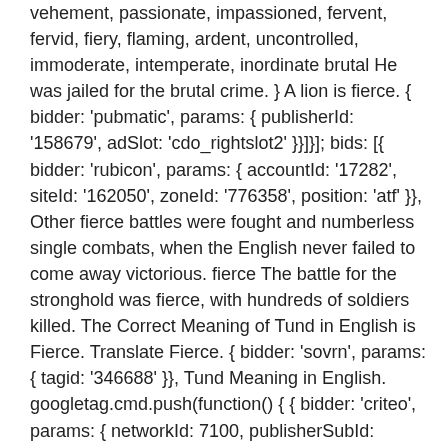vehement, passionate, impassioned, fervent, fervid, fiery, flaming, ardent, uncontrolled, immoderate, intemperate, inordinate brutal He was jailed for the brutal crime. } A lion is fierce. { bidder: 'pubmatic', params: { publisherId: '158679', adSlot: 'cdo_rightslot2' }}]}]; bids: [{ bidder: 'rubicon', params: { accountId: '17282', siteId: '162050', zoneId: '776358', position: 'atf' }}, Other fierce battles were fought and numberless single combats, when the English never failed to come away victorious. fierce The battle for the stronghold was fierce, with hundreds of soldiers killed. The Correct Meaning of Tund in English is Fierce. Translate Fierce. { bidder: 'sovrn', params: { tagid: '346688' }}, Tund Meaning in English. googletag.cmd.push(function() { { bidder: 'criteo', params: { networkId: 7100, publisherSubId: 'cdo_btmslot' }}, {code: 'ad_rightslot', pubstack: { adUnitName: 'cdo_rightslot',